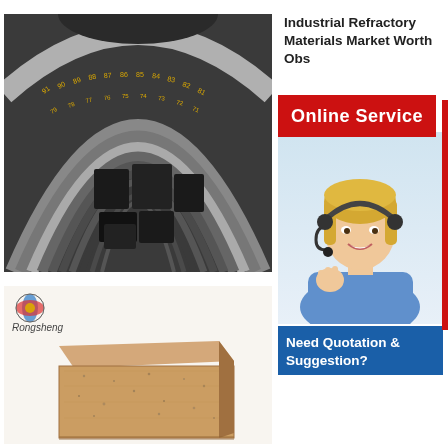[Figure (photo): Industrial kiln or rotary furnace interior showing curved brick lining with yellow markings and dark refractory bricks/blocks inside]
Industrial Refractory Materials Market Worth Obs...
Sep ...  mark
[Figure (other): Red button banner reading 'Online Service']
[Figure (photo): Female customer service representative wearing headset, smiling, in business attire]
Need Quotation & Suggestion?
[Figure (photo): Refractory brick - a sandy-brown rectangular fire brick with Rongsheng logo in top-left corner]